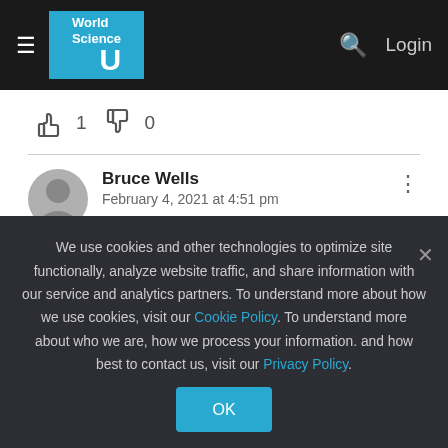World Science U — Navigation bar with hamburger menu, logo, search, and Login
[Figure (other): Thumbs up icon with count 1 and thumbs down icon with count 0]
1   0
Bruce Wells
February 4, 2021 at 4:51 pm

It occurs to me. That as the mass you must accelerate increases. So also, would the mass of
We use cookies and other technologies to optimize site functionally, analyze website traffic, and share information with our service and analytics partners. To understand more about how we use cookies, visit our Cookie Policy. To understand more about who we are, how we process your information. and how best to contact us, visit our Privacy Policy.